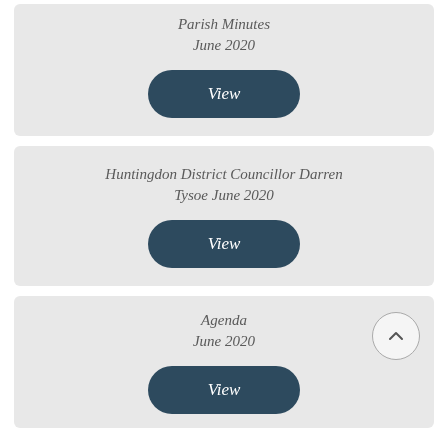Parish Minutes
June 2020
[Figure (other): View button for Parish Minutes June 2020]
Huntingdon District Councillor Darren Tysoe June 2020
[Figure (other): View button for Huntingdon District Councillor Darren Tysoe June 2020]
Agenda
June 2020
[Figure (other): Back to top circular arrow button]
[Figure (other): View button for Agenda June 2020]